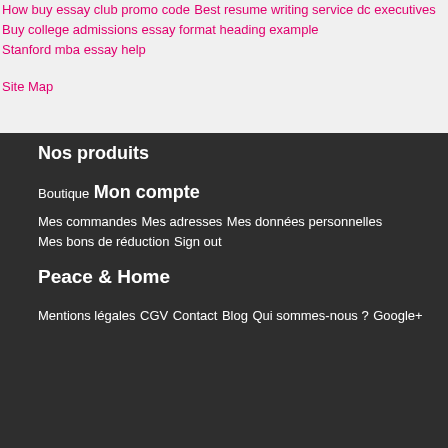How buy essay club promo code
Best resume writing service dc executives
Buy college admissions essay format heading example
Stanford mba essay help
Site Map
Nos produits
Boutique
Mon compte
Mes commandes
Mes adresses
Mes données personnelles
Mes bons de réduction
Sign out
Peace & Home
Mentions légales
CGV
Contact
Blog
Qui sommes-nous ?
Google+